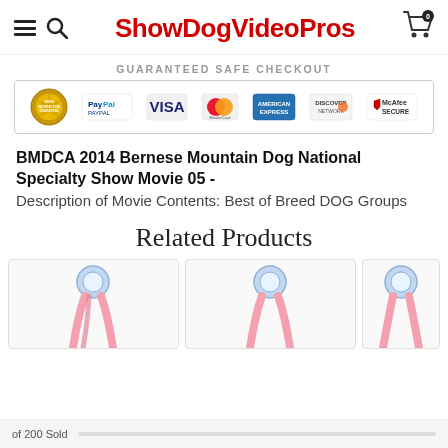ShowDogVideoPros
[Figure (infographic): Guaranteed Safe Checkout banner with payment method logos: satisfaction guarantee seal, PayPal, Visa, MasterCard, American Express, Discover Network, McAfee Secure]
BMDCA 2014 Bernese Mountain Dog National Specialty Show Movie 05 - Description of Movie Contents: Best of Breed DOG Groups
Related Products
[Figure (photo): Three product card thumbnails showing dog show ribbon/rosette images, partially cropped at bottom]
of 200 Sold